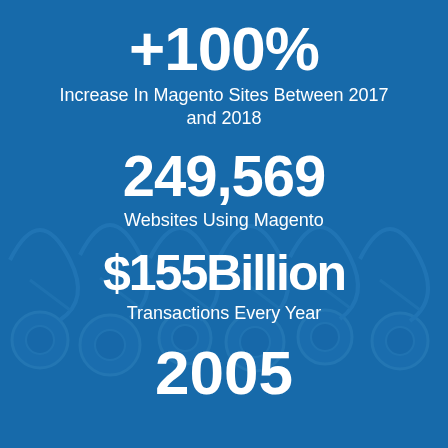[Figure (infographic): Blue-tinted background image of shopping cart wheels/handles in a row, with a dark blue overlay creating a stylized infographic look]
+100%
Increase In Magento Sites Between 2017 and 2018
249,569
Websites Using Magento
$155Billion
Transactions Every Year
2005